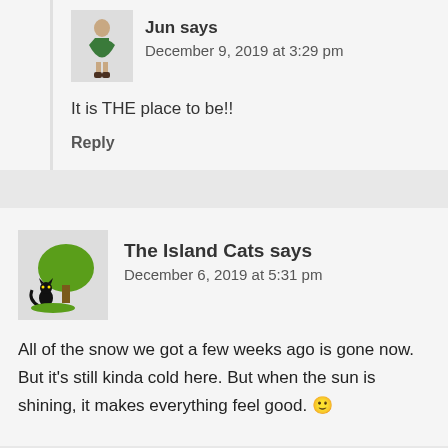Jun says
December 9, 2019 at 3:29 pm
It is THE place to be!!
Reply
The Island Cats says
December 6, 2019 at 5:31 pm
All of the snow we got a few weeks ago is gone now. But it's still kinda cold here. But when the sun is shining, it makes everything feel good. 🙂